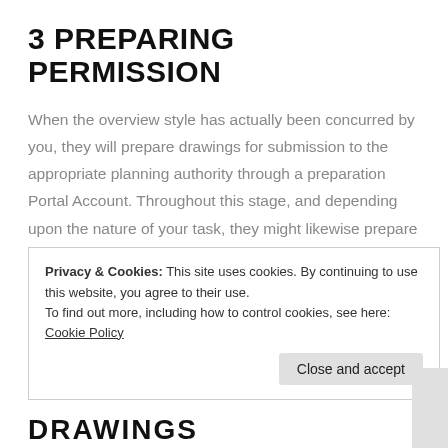3 PREPARING PERMISSION
When the overview style has actually been concurred by you, they will prepare drawings for submission to the appropriate planning authority through a preparation Portal Account. Throughout this stage, and depending upon the nature of your task, they might likewise prepare computer graphics and animations to allow you to visualise the result of your project. This process takes roughly 8 weeks, depending upon the type of
Privacy & Cookies: This site uses cookies. By continuing to use this website, you agree to their use.
To find out more, including how to control cookies, see here: Cookie Policy
Close and accept
DRAWINGS